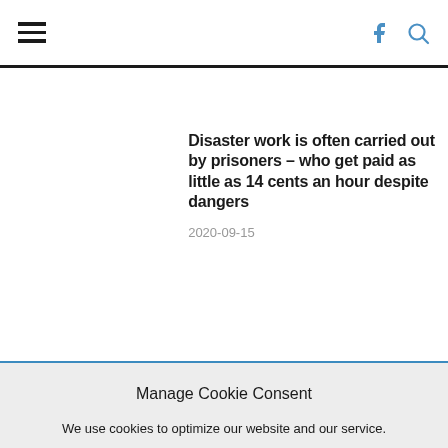Navigation bar with hamburger menu, Facebook icon, and search icon
Disaster work is often carried out by prisoners – who get paid as little as 14 cents an hour despite dangers
2020-09-15
The labor-busting law firms
Manage Cookie Consent
We use cookies to optimize our website and our service.
Accept